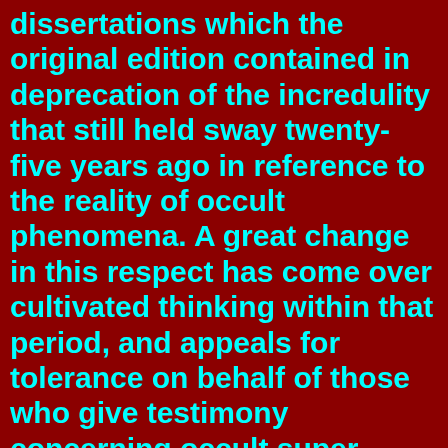dissertations which the original edition contained in deprecation of the incredulity that still held sway twenty-five years ago in reference to the reality of occult phenomena. A great change in this respect has come over cultivated thinking within that period, and appeals for tolerance on behalf of those who give testimony concerning occult super-psychical phenomena of which they may have been